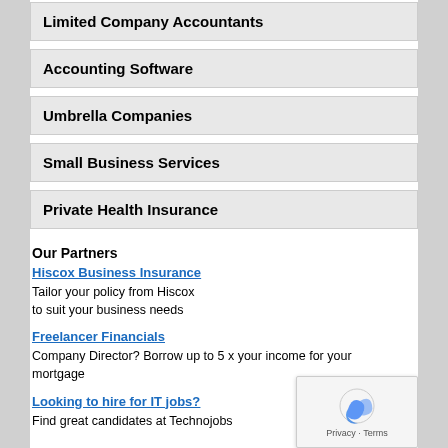Limited Company Accountants
Accounting Software
Umbrella Companies
Small Business Services
Private Health Insurance
Our Partners
Hiscox Business Insurance
Tailor your policy from Hiscox to suit your business needs
Freelancer Financials
Company Director? Borrow up to 5 x your income for your mortgage
Looking to hire for IT jobs?
Find great candidates at Technojobs